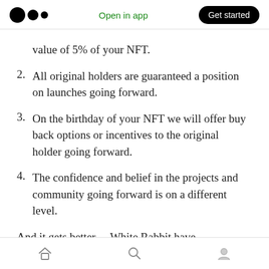Open in app | Get started
value of 5% of your NFT.
2. All original holders are guaranteed a position on launches going forward.
3. On the birthday of your NFT we will offer buy back options or incentives to the original holder going forward.
4. The confidence and belief in the projects and community going forward is on a different level.
And it gets better….White Rabbit have
Home | Search | Profile